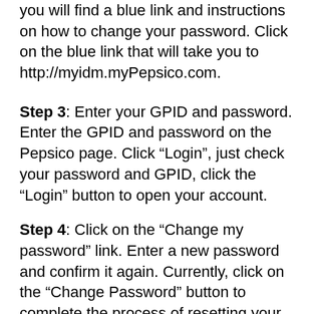you will find a blue link and instructions on how to change your password. Click on the blue link that will take you to http://myidm.myPepsico.com.
Step 3: Enter your GPID and password. Enter the GPID and password on the Pepsico page. Click “Login”, just check your password and GPID, click the “Login” button to open your account.
Step 4: Click on the “Change my password” link. Enter a new password and confirm it again. Currently, click on the “Change Password” button to complete the process of resetting your password.
For Successful Login